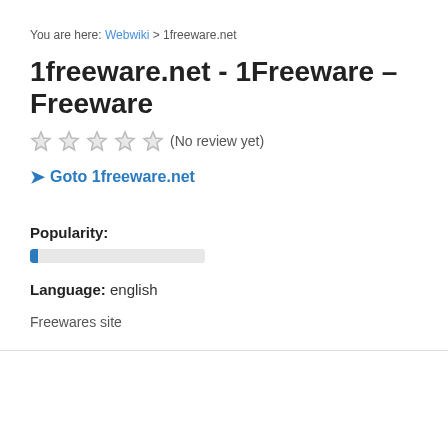You are here: Webwiki > 1freeware.net
1freeware.net - 1Freeware – Freeware
[Figure (other): Five empty star rating icons followed by text '(No review yet)']
➤ Goto 1freeware.net
Popularity:
[Figure (other): Horizontal progress bar mostly empty with a small blue fill on the left]
Language: english
Freewares site